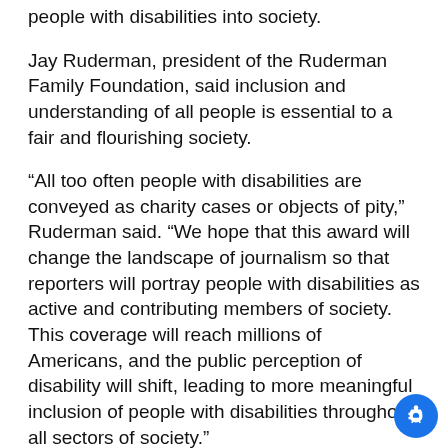people with disabilities into society.
Jay Ruderman, president of the Ruderman Family Foundation, said inclusion and understanding of all people is essential to a fair and flourishing society.
“All too often people with disabilities are conveyed as charity cases or objects of pity,” Ruderman said. “We hope that this award will change the landscape of journalism so that reporters will portray people with disabilities as active and contributing members of society. This coverage will reach millions of Americans, and the public perception of disability will shift, leading to more meaningful inclusion of people with disabilities throughout all sectors of society.”
The NCDJ has been part of ASU’s Walter Cronkite School of Journalism and Mass Communication since 2008. The organization provides support and guidance for journalists as they cover people with disabilities, including a popular style guide that offers